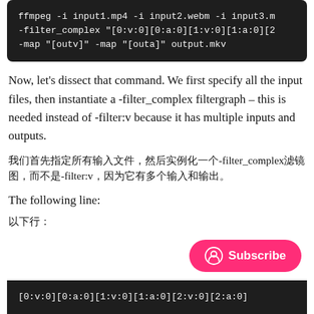[Figure (screenshot): Dark terminal/code block showing ffmpeg command: ffmpeg -i input1.mp4 -i input2.webm -i input3.m -filter_complex "[0:v:0][0:a:0][1:v:0][1:a:0][2 -map "[outv]" -map "[outa]" output.mkv]
Now, let's dissect that command. We first specify all the input files, then instantiate a -filter_complex filtergraph – this is needed instead of -filter:v because it has multiple inputs and outputs.
我们首先指定所有输入文件，然后实例化一个-filter_complex滤镜图，而不是-filter:v，因为它有多个输入和输出。
The following line:
以下行：
[Figure (screenshot): Dark terminal/code block showing: [0:v:0][0:a:0][1:v:0][1:a:0][2:v:0][2:a:0]]
Subscribe